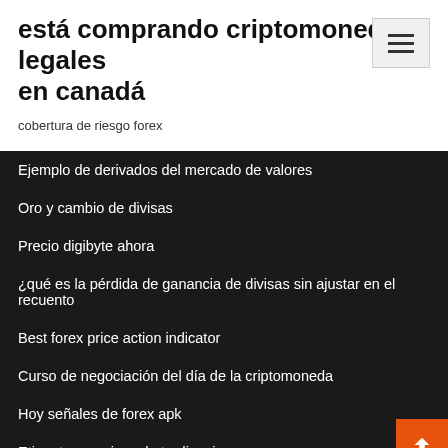está comprando criptomonedas legales en canadá
cobertura de riesgo forex
Ejemplo de derivados del mercado de valores
Oro y cambio de divisas
Precio digibyte ahora
¿qué es la pérdida de ganancia de divisas sin ajustar en el recuento
Best forex price action indicator
Curso de negociación del día de la criptomoneda
Hoy señales de forex apk
Etiquetas precisas de tradingview